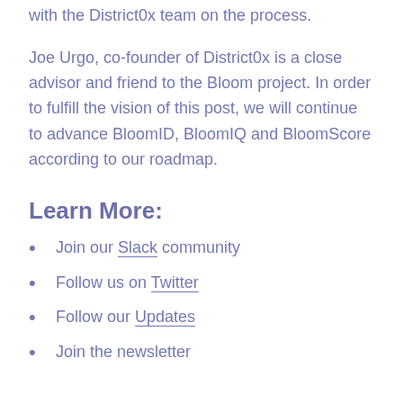with the District0x team on the process.
Joe Urgo, co-founder of District0x is a close advisor and friend to the Bloom project. In order to fulfill the vision of this post, we will continue to advance BloomID, BloomIQ and BloomScore according to our roadmap.
Learn More:
Join our Slack community
Follow us on Twitter
Follow our Updates
Join the newsletter